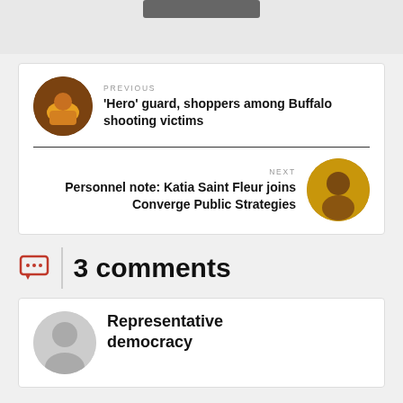[Figure (screenshot): Top banner area with a dark button/element]
PREVIOUS
'Hero' guard, shoppers among Buffalo shooting victims
NEXT
Personnel note: Katia Saint Fleur joins Converge Public Strategies
3 comments
Representative democracy